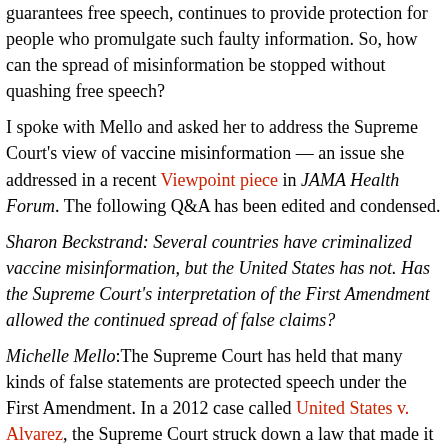guarantees free speech, continues to provide protection for people who promulgate such faulty information. So, how can the spread of misinformation be stopped without quashing free speech?
I spoke with Mello and asked her to address the Supreme Court's view of vaccine misinformation — an issue she addressed in a recent Viewpoint piece in JAMA Health Forum. The following Q&A has been edited and condensed.
Sharon Beckstrand: Several countries have criminalized vaccine misinformation, but the United States has not. Has the Supreme Court's interpretation of the First Amendment allowed the continued spread of false claims?
Michelle Mello:The Supreme Court has held that many kinds of false statements are protected speech under the First Amendment. In a 2012 case called United States v. Alvarez, the Supreme Court struck down a law that made it a criminal offense to lie about having received military medals. It refused to hold that a statement's falsity put it outside the realm of First Amendment protection.
But there are some kinds of false speech that can be penalized by the